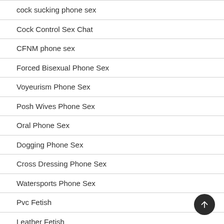cock sucking phone sex
Cock Control Sex Chat
CFNM phone sex
Forced Bisexual Phone Sex
Voyeurism Phone Sex
Posh Wives Phone Sex
Oral Phone Sex
Dogging Phone Sex
Cross Dressing Phone Sex
Watersports Phone Sex
Pvc Fetish
Leather Fetish